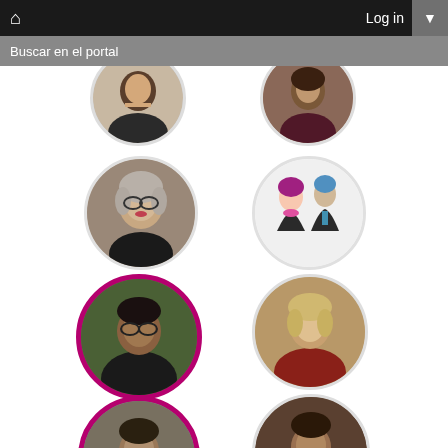Log in
Buscar en el portal
[Figure (photo): Grid of circular profile photos of people, some with magenta/purple borders, arranged in two columns on a white background]
[Figure (illustration): Two-person icon (man and woman silhouettes) on light background circle]